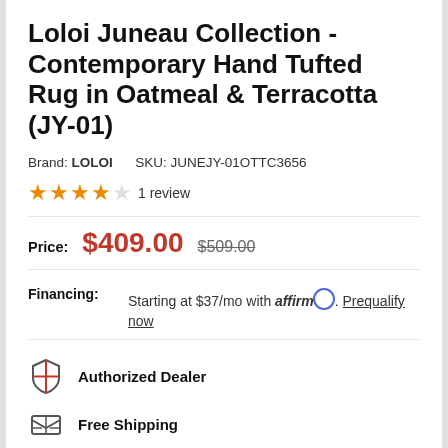Loloi Juneau Collection - Contemporary Hand Tufted Rug in Oatmeal & Terracotta (JY-01)
Brand: LOLOI   SKU: JUNEJY-01OTTC3656
4 out of 5 stars  1 review
Price: $409.00  $509.00
Financing: Starting at $37/mo with affirm. Prequalify now
Authorized Dealer
Free Shipping